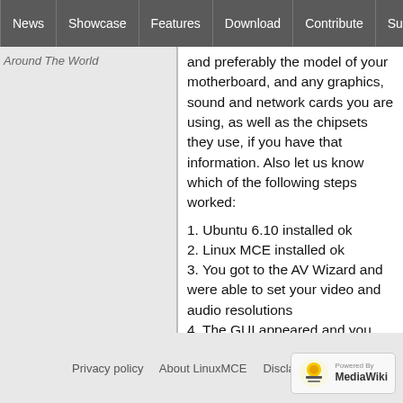News | Showcase | Features | Download | Contribute | Support
Around The World
and preferably the model of your motherboard, and any graphics, sound and network cards you are using, as well as the chipsets they use, if you have that information. Also let us know which of the following steps worked:
1. Ubuntu 6.10 installed ok
2. Linux MCE installed ok
3. You got to the AV Wizard and were able to set your video and audio resolutions
4. The GUI appeared and you were able to complete the Setup Wizard
5. Your known-compatible PNP devices, like NAS, etc., were detected.
Privacy policy   About LinuxMCE   Disclaimers   Powered by MediaWiki